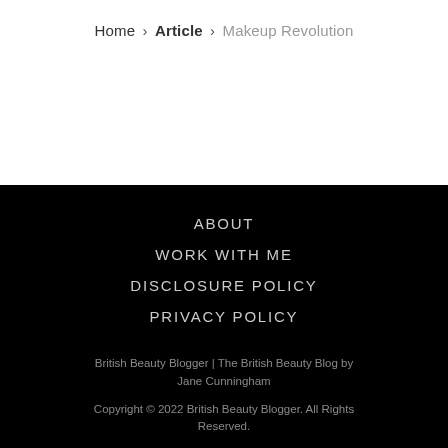Home › Article › Makeup Revolution
ABOUT
WORK WITH ME
DISCLOSURE POLICY
PRIVACY POLICY
British Beauty Blogger | The British Beauty Blog by Jane Cunningham
Copyright © 2022 British Beauty Blogger. All Rights Reserved.